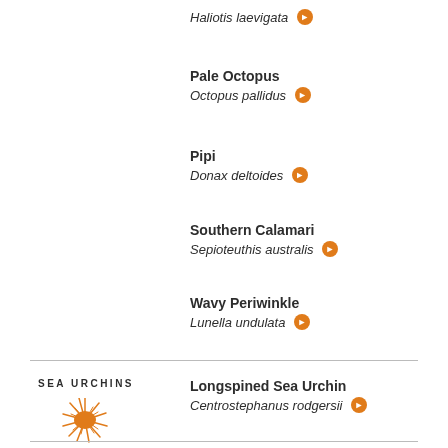Haliotis laevigata
Pale Octopus / Octopus pallidus
Pipi / Donax deltoides
Southern Calamari / Sepioteuthis australis
Wavy Periwinkle / Lunella undulata
SEA URCHINS
Longspined Sea Urchin / Centrostephanus rodgersii
[Figure (illustration): Orange sea urchin illustration]